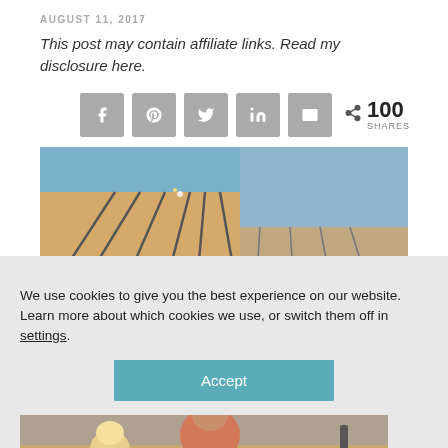AUGUST 11, 2017
This post may contain affiliate links. Read my disclosure here.
[Figure (infographic): Social sharing bar with Facebook, Pinterest, Twitter, LinkedIn, Email icons and share count of 100 SHARES]
[Figure (photo): Bowling alley lanes viewed from behind, showing multiple lanes with pins at the end and reflective floor]
We use cookies to give you the best experience on our website.
Learn more about which cookies we use, or switch them off in settings.
Accept
[Figure (photo): Person sitting at bowling alley, viewed from behind, wearing pink shirt]